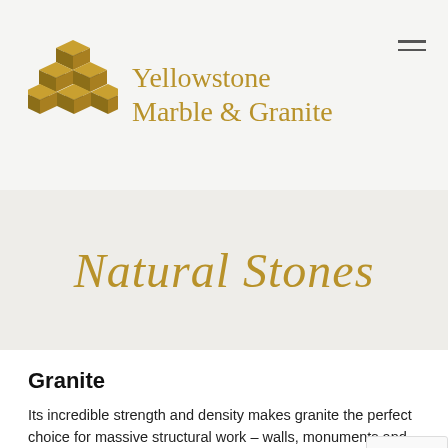[Figure (logo): Yellowstone Marble & Granite logo with stacked golden stone blocks icon and company name in golden serif font]
Natural Stones
Granite
Its incredible strength and density makes granite the perfect choice for massive structural work – walls, monuments and supports. Though it is the hardest of structural stones, the amazing variety of mineral-rich colors and natural patterns